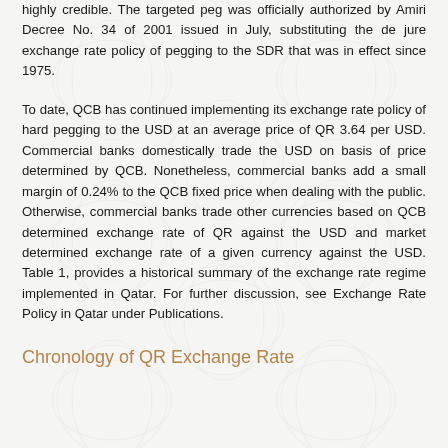highly credible. The targeted peg was officially authorized by Amiri Decree No. 34 of 2001 issued in July, substituting the de jure exchange rate policy of pegging to the SDR that was in effect since 1975.
To date, QCB has continued implementing its exchange rate policy of hard pegging to the USD at an average price of QR 3.64 per USD. Commercial banks domestically trade the USD on basis of price determined by QCB. Nonetheless, commercial banks add a small margin of 0.24% to the QCB fixed price when dealing with the public. Otherwise, commercial banks trade other currencies based on QCB determined exchange rate of QR against the USD and market determined exchange rate of a given currency against the USD. Table 1, provides a historical summary of the exchange rate regime implemented in Qatar. For further discussion, see Exchange Rate Policy in Qatar under Publications.
Chronology of QR Exchange Rate